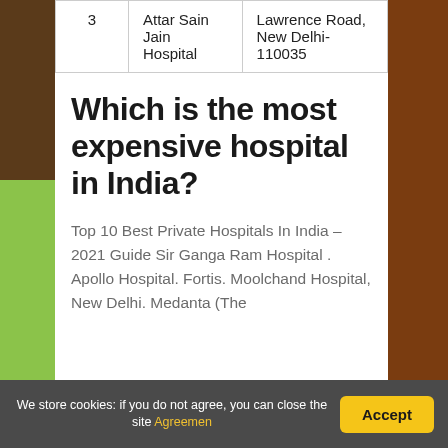|  | Hospital Name | Address |
| --- | --- | --- |
| 3 | Attar Sain Jain Hospital | Lawrence Road, New Delhi-110035 |
Which is the most expensive hospital in India?
Top 10 Best Private Hospitals In India – 2021 Guide Sir Ganga Ram Hospital . Apollo Hospital. Fortis. Moolchand Hospital, New Delhi. Medanta (The
We store cookies: if you do not agree, you can close the site Agreemen